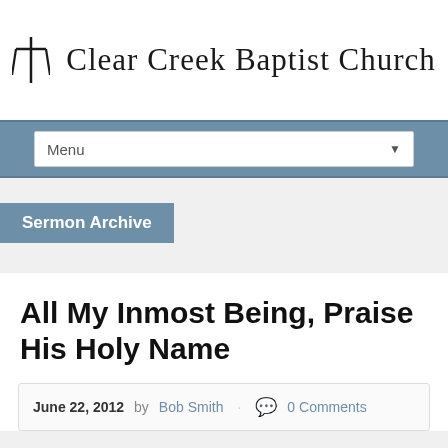Clear Creek Baptist Church
Menu
Sermon Archive
All My Inmost Being, Praise His Holy Name
June 22, 2012  by Bob Smith  0 Comments